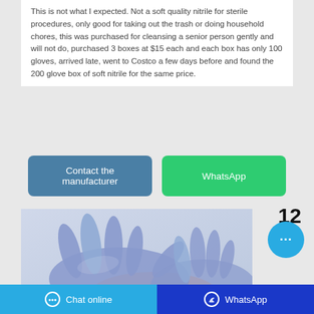This is not what I expected. Not a soft quality nitrile for sterile procedures, only good for taking out the trash or doing household chores, this was purchased for cleansing a senior person gently and will not do, purchased 3 boxes at $15 each and each box has only 100 gloves, arrived late, went to Costco a few days before and found the 200 glove box of soft nitrile for the same price.
[Figure (screenshot): Two buttons side by side: 'Contact the manufacturer' (teal/blue) and 'WhatsApp' (green)]
[Figure (photo): Photo of blue/purple nitrile gloves being worn on hands against a light background, with number 12 and a chat bubble icon overlay]
Chat online   WhatsApp